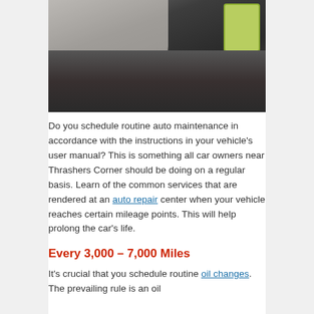[Figure (photo): A mechanic pouring oil or fluid into a car engine from a container, viewed from above with the car hood open.]
Do you schedule routine auto maintenance in accordance with the instructions in your vehicle's user manual? This is something all car owners near Thrashers Corner should be doing on a regular basis. Learn of the common services that are rendered at an auto repair center when your vehicle reaches certain mileage points. This will help prolong the car's life.
Every 3,000 – 7,000 Miles
It's crucial that you schedule routine oil changes. The prevailing rule is an oil